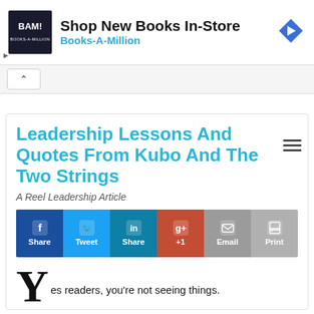[Figure (screenshot): Books-A-Million advertisement banner with logo, title 'Shop New Books In-Store', subtitle 'Books-A-Million', and a blue navigation arrow icon]
[Figure (screenshot): Collapse/hide button with upward caret symbol]
[Figure (screenshot): Hamburger menu icon (three horizontal lines)]
Leadership Lessons And Quotes From Kubo And The Two Strings
A Reel Leadership Article
[Figure (screenshot): Social sharing buttons: Share (Facebook), Tweet (Twitter), Share (LinkedIn), +1 (Google+), Email, Print]
Yes readers, you’re not seeing things.